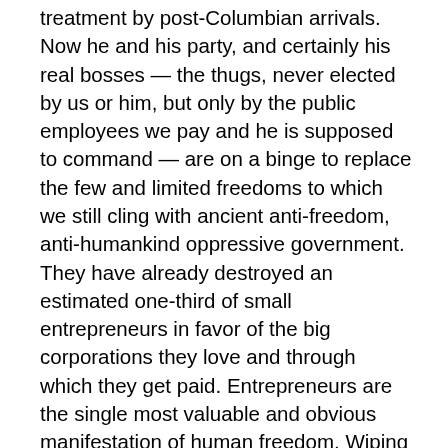treatment by post-Columbian arrivals. Now he and his party, and certainly his real bosses — the thugs, never elected by us or him, but only by the public employees we pay and he is supposed to command — are on a binge to replace the few and limited freedoms to which we still cling with ancient anti-freedom, anti-humankind oppressive government. They have already destroyed an estimated one-third of small entrepreneurs in favor of the big corporations they love and through which they get paid. Entrepreneurs are the single most valuable and obvious manifestation of human freedom. Wiping out small entrepreneurs and replacing them with fascist enterprises (i.e., government-favored corporations), with wards of the state — paid for by us serfs and now approaching one third of the population and with never-competent and costly entrepreneur-killing public employees who will, with mathematical certainty, create Venezuelan-style authoritarianism, subsistence living and abject poverty. Southern Nevada grew in the 1950s and 1960s because of the obvious-to-all failure of the oppressive governments of Germany, Italy and Japan, the bankrupted government of the